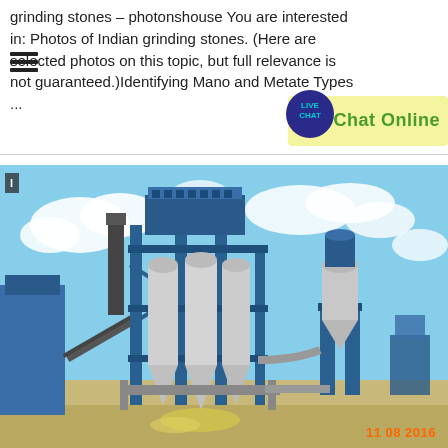grinding stones – photonshouse You are interested in: Photos of Indian grinding stones. (Here are selected photos on this topic, but full relevance is not guaranteed.)Identifying Mano and Metate Types ...
[Figure (photo): Industrial grinding/milling plant with blue steel framework, large silos, dust collectors, conveyor belts, pipes, and processing equipment photographed outdoors under a partly cloudy sky. Timestamp 11 08 2016 visible in bottom right corner.]